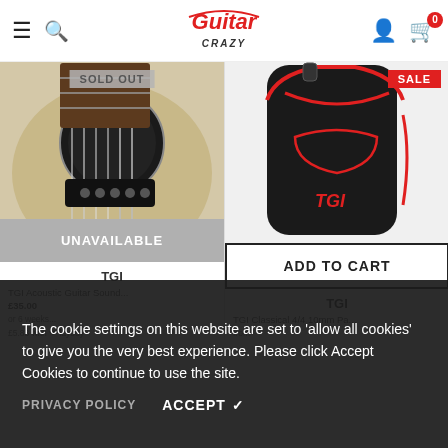Guitar Crazy - navigation header with menu, search, logo, account, and cart icons
[Figure (photo): Close-up of acoustic guitar soundhole with pickup, labeled SOLD OUT]
[Figure (photo): TGI Classical guitar gig bag in black with red trim, labeled SALE]
UNAVAILABLE
ADD TO CART
TGI
TGI
TGI Acoustic Guitar Sound... £35.00 or 6 weeks... £5.83 with laybuy
TGI Classical 4/4 10mm Pa... from
The cookie settings on this website are set to 'allow all cookies' to give you the very best experience. Please click Accept Cookies to continue to use the site.
PRIVACY POLICY
ACCEPT ✔